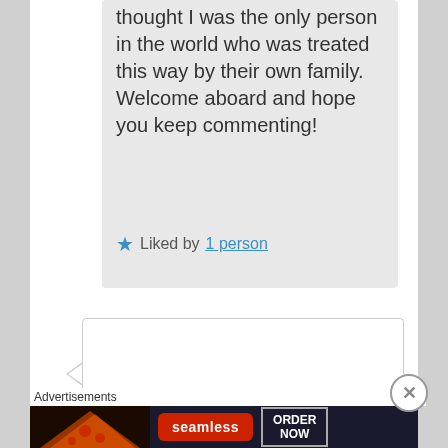thought I was the only person in the world who was treated this way by their own family. Welcome aboard and hope you keep commenting!
★ Liked by 1 person
[Figure (photo): Profile photo of a woman with long reddish-brown hair and glasses, wearing dark clothing, appears to be in a restaurant setting]
Advertisements
[Figure (screenshot): Seamless food delivery advertisement banner with pizza imagery, red Seamless logo button, and ORDER NOW button on dark background]